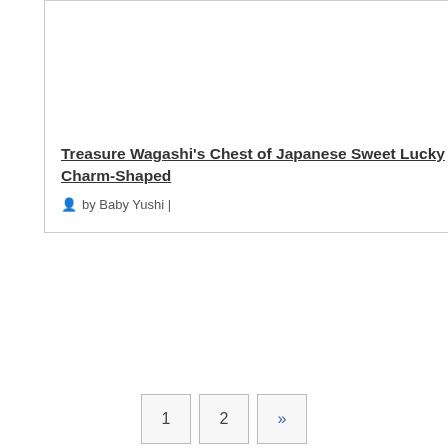[Figure (photo): Product card with image placeholder at top]
Treasure Wagashi's Chest of Japanese Sweet Lucky Charm-Shaped
by Baby Yushi |
1  2  »
AD
Popular Posts
[Figure (photo): Tokyo Banana product image - round yellow baumkuchen package with Japanese text]
"Tokyo Banana (東京ばな奈)" Japanese Sweet of 'Baumkuchen'